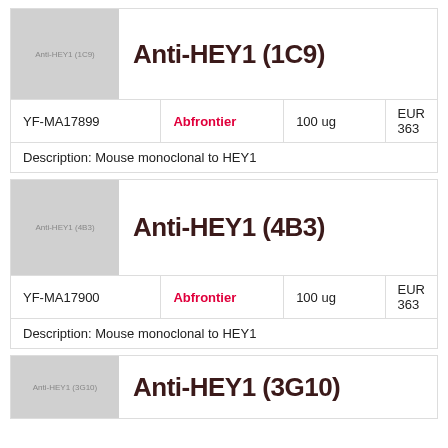Anti-HEY1 (1C9)
| Code | Brand | Quantity | Price |
| --- | --- | --- | --- |
| YF-MA17899 | Abfrontier | 100 ug | EUR 363 |
Description: Mouse monoclonal to HEY1
Anti-HEY1 (4B3)
| Code | Brand | Quantity | Price |
| --- | --- | --- | --- |
| YF-MA17900 | Abfrontier | 100 ug | EUR 363 |
Description: Mouse monoclonal to HEY1
Anti-HEY1 (3G10)